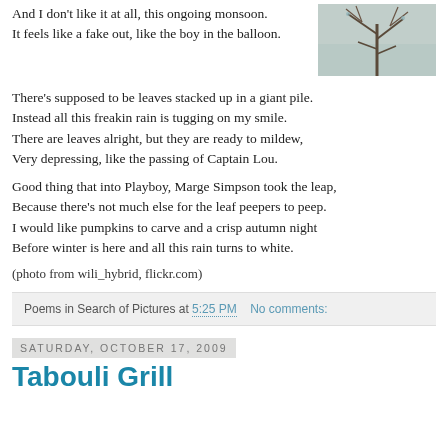And I don't like it at all, this ongoing monsoon.
It feels like a fake out, like the boy in the balloon.
[Figure (photo): A winter or autumn bare tree branches against a muted sky, small photo thumbnail]
There's supposed to be leaves stacked up in a giant pile.
Instead all this freakin rain is tugging on my smile.
There are leaves alright, but they are ready to mildew,
Very depressing, like the passing of Captain Lou.
Good thing that into Playboy, Marge Simpson took the leap,
Because there's not much else for the leaf peepers to peep.
I would like pumpkins to carve and a crisp autumn night
Before winter is here and all this rain turns to white.
(photo from wili_hybrid, flickr.com)
Poems in Search of Pictures at 5:25 PM    No comments:
Saturday, October 17, 2009
Tabouli Grill